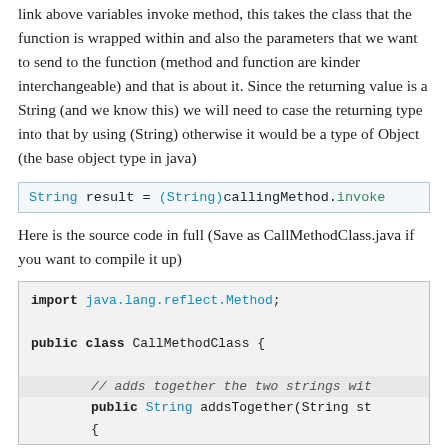link above variables invoke method, this takes the class that the function is wrapped within and also the parameters that we want to send to the function (method and function are kinder interchangeable) and that is about it. Since the returning value is a String (and we know this) we will need to case the returning type into that by using (String) otherwise it would be a type of Object (the base object type in java)
String result = (String)callingMethod.invoke
Here is the source code in full (Save as CallMethodClass.java if you want to compile it up)
import java.lang.reflect.Method;

public class CallMethodClass {

        // adds together the two strings wit
        public String addsTogether(String st
        {